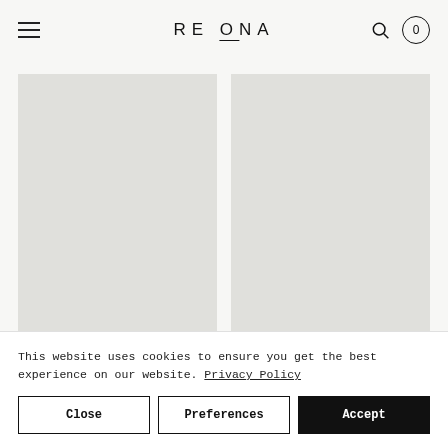RE ONA — navigation header with hamburger menu, logo, search icon, and cart (0)
[Figure (photo): Two gray placeholder product image boxes side by side on a light background]
This website uses cookies to ensure you get the best experience on our website. Privacy Policy
Close | Preferences | Accept